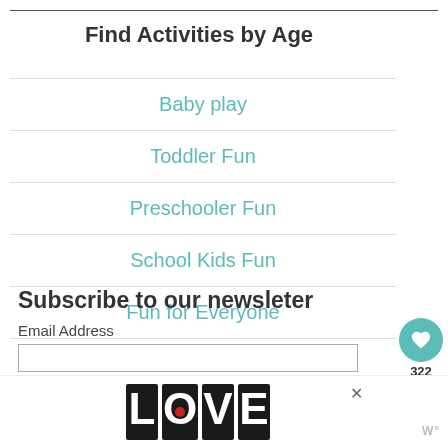Find Activities by Age
Baby play
Toddler Fun
Preschooler Fun
School Kids Fun
Fun for Everyone
Subscribe to our newsleter
Email Address
[Figure (illustration): LOVE text logo with decorative black and white patterned letters]
322